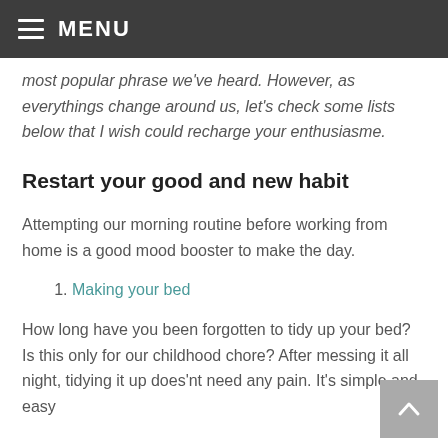MENU
most popular phrase we've heard. However, as everythings change around us, let's check some lists below that I wish could recharge your enthusiasme.
Restart your good and new habit
Attempting our morning routine before working from home is a good mood booster to make the day.
1. Making your bed
How long have you been forgotten to tidy up your bed? Is this only for our childhood chore? After messing it all night, tidying it up does'nt need any pain. It's simple and easy